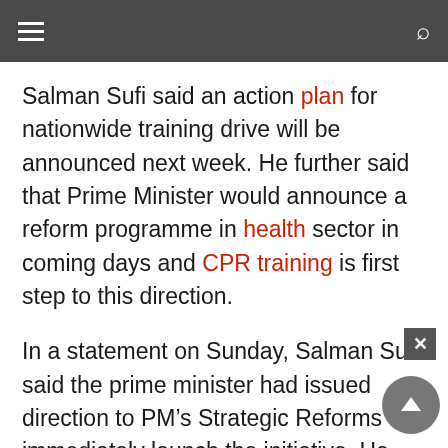[hamburger menu] [search icon]
Salman Sufi said an action plan for nationwide training drive will be announced next week. He further said that Prime Minister would announce a reform programme in health sector in coming days and CPR training is first step to this direction.
In a statement on Sunday, Salman Sufi said the prime minister had issued direction to PM’s Strategic Reforms to immediately launch the initiative. He said that CPR had saved countless lives around the world at places where immediate medical assistance was